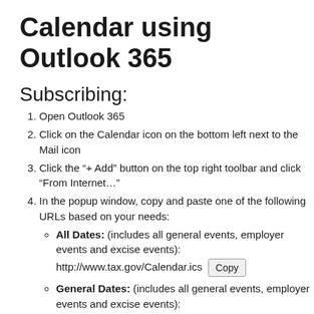Calendar using Outlook 365
Subscribing:
Open Outlook 365
Click on the Calendar icon on the bottom left next to the Mail icon
Click the “+ Add” button on the top right toolbar and click “From Internet…”
In the popup window, copy and paste one of the following URLs based on your needs:
All Dates: (includes all general events, employer events and excise events): http://www.tax.gov/Calendar.ics [Copy]
General Dates: (includes all general events, employer events and excise events): http://www.tax.gov/General/Calendar.ics [Copy]